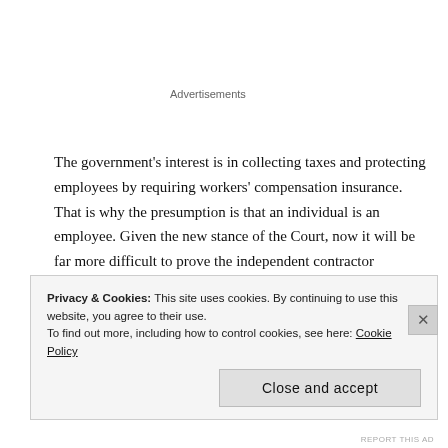Advertisements
The government's interest is in collecting taxes and protecting employees by requiring workers' compensation insurance. That is why the presumption is that an individual is an employee. Given the new stance of the Court, now it will be far more difficult to prove the independent contractor classification.
In the past, when asked if an individual could be classified as an independent contractor, I answered that the person was probably an
Privacy & Cookies: This site uses cookies. By continuing to use this website, you agree to their use.
To find out more, including how to control cookies, see here: Cookie Policy
Close and accept
REPORT THIS AD